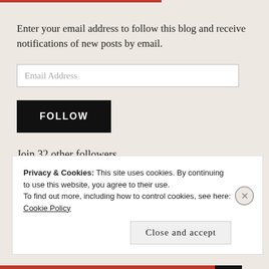Enter your email address to follow this blog and receive notifications of new posts by email.
Email Address
FOLLOW
Join 32 other followers
Privacy & Cookies: This site uses cookies. By continuing to use this website, you agree to their use.
To find out more, including how to control cookies, see here: Cookie Policy
Close and accept